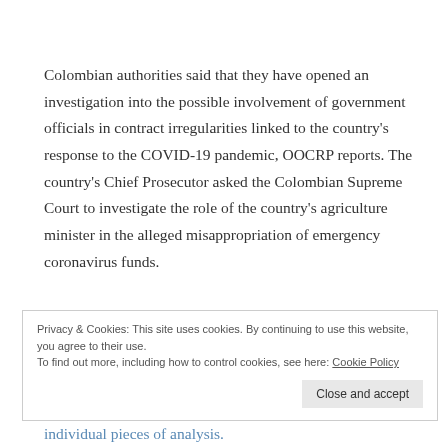Colombian authorities said that they have opened an investigation into the possible involvement of government officials in contract irregularities linked to the country's response to the COVID-19 pandemic, OOCRP reports. The country's Chief Prosecutor asked the Colombian Supreme Court to investigate the role of the country's agriculture minister in the alleged misappropriation of emergency coronavirus funds.
Privacy & Cookies: This site uses cookies. By continuing to use this website, you agree to their use. To find out more, including how to control cookies, see here: Cookie Policy
individual pieces of analysis.